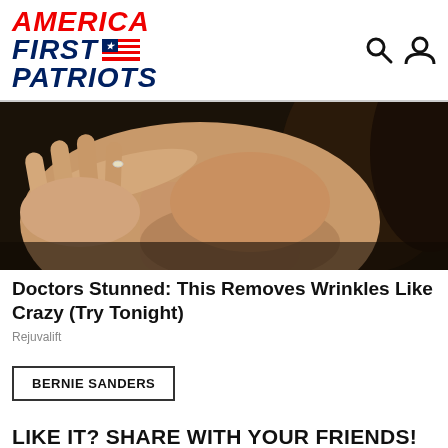[Figure (logo): America First Patriots logo — red italic AMERICA, dark blue italic FIRST with flag icon, dark blue italic PATRIOTS, plus search and user icons top right]
[Figure (photo): Close-up photo of a woman's face and hand touching her neck/chin area, dark hair, advertisement image]
Doctors Stunned: This Removes Wrinkles Like Crazy (Try Tonight)
Rejuvalift
BERNIE SANDERS
LIKE IT? SHARE WITH YOUR FRIENDS!